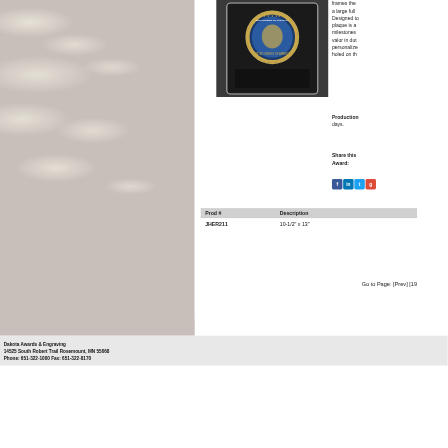[Figure (photo): Marble/stone texture background on the left portion of the page]
[Figure (photo): Product image of a Navy plaque with the US Navy seal on a dark background]
frames the... a large full... Designed to... plaque is a... milestones... valor in dut... personalize... holed on th...
Production... days.
Share this Award:
| Prod # | Description |
| --- | --- |
| JHER211 | 10-1/2" x 13" |
Go to Page: [Prev] [19...
Dakota Awards & Engraving
14525 South Robert Trail Rosemount, MN 55068
Phone: 651-322-1000 Fax: 651-322-8170